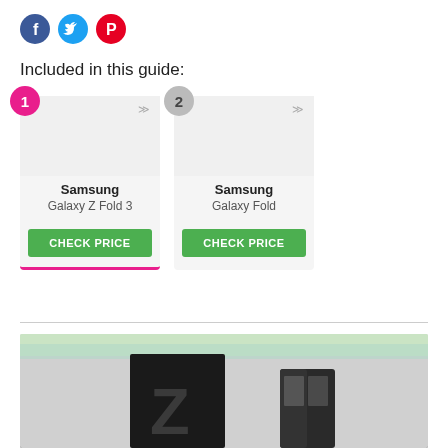[Figure (illustration): Social media sharing icons: Facebook (blue circle with f), Twitter (light blue circle with bird), Pinterest (red circle with P)]
Included in this guide:
[Figure (infographic): Two product cards: 1) Samsung Galaxy Z Fold 3 with CHECK PRICE button, selected (pink underline); 2) Samsung Galaxy Fold with CHECK PRICE button]
[Figure (photo): Photo of Samsung Galaxy Z Fold 3 box and phone, with colorful lighting in background]